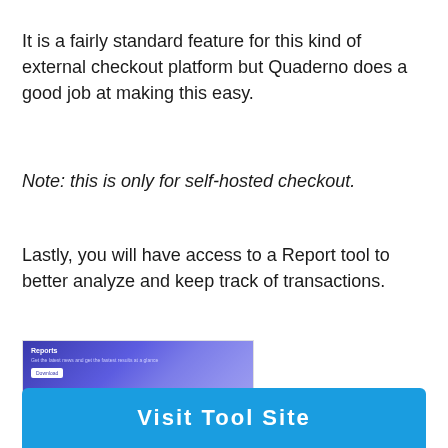It is a fairly standard feature for this kind of external checkout platform but Quaderno does a good job at making this easy.
Note: this is only for self-hosted checkout.
Lastly, you will have access to a Report tool to better analyze and keep track of transactions.
[Figure (screenshot): Screenshot of a Reports tool interface with a dark purple/blue gradient background, showing a 'Reports' title, subtitle text, and a button.]
Visit Tool Site